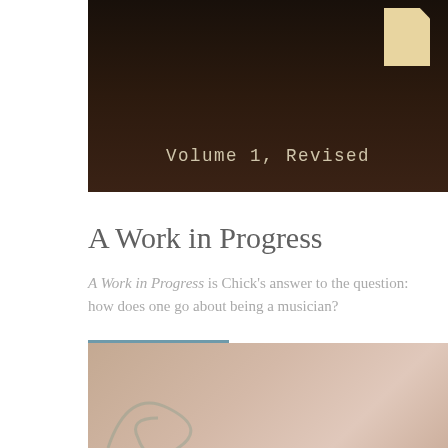[Figure (photo): Dark brown background book cover image with text 'Volume 1, Revised' in typewriter font and a small paper/document element in the upper right corner]
A Work in Progress
A Work in Progress is Chick's answer to the question: how does one go about being a musician?
BUY NOW
[Figure (photo): Partial view of a tan/beige textured surface (book cover or paper) with a faint decorative swirl or script element visible at the bottom]